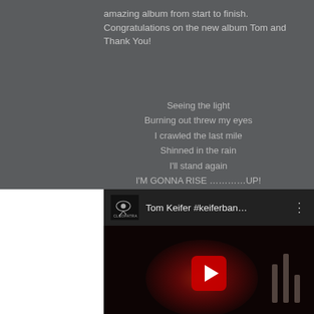amazing album from start to finish. Congratulations on the new album Tom and Thank You!
Seeing the light
Burning out threw my eyes
I crawled the last mile
Shinned in the rain
I'll stand again
I'M GONNA RISE …………UP!
[Figure (screenshot): YouTube video embed showing Tom Keifer #keiferban... with Cleopatra Records logo, dark red thumbnail with play button]